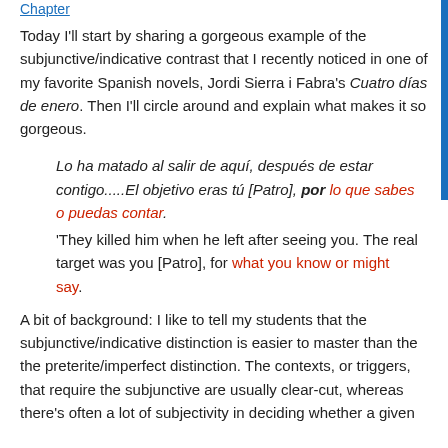Chapter
Today I'll start by sharing a gorgeous example of the subjunctive/indicative contrast that I recently noticed in one of my favorite Spanish novels, Jordi Sierra i Fabra's Cuatro días de enero. Then I'll circle around and explain what makes it so gorgeous.
Lo ha matado al salir de aquí, después de estar contigo.....El objetivo eras tú [Patro], por lo que sabes o puedas contar.
'They killed him when he left after seeing you. The real target was you [Patro], for what you know or might say.
A bit of background: I like to tell my students that the subjunctive/indicative distinction is easier to master than the the preterite/imperfect distinction. The contexts, or triggers, that require the subjunctive are usually clear-cut, whereas there's often a lot of subjectivity in deciding whether a given